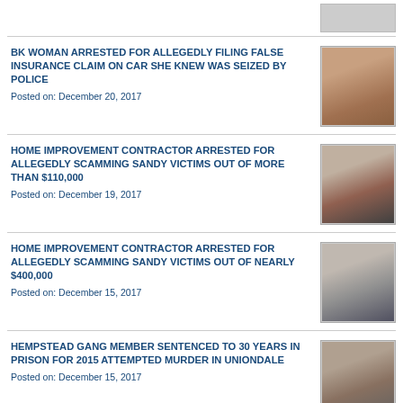[Figure (photo): Mugshot of woman with red/auburn hair]
BK WOMAN ARRESTED FOR ALLEGEDLY FILING FALSE INSURANCE CLAIM ON CAR SHE KNEW WAS SEIZED BY POLICE
Posted on: December 20, 2017
[Figure (photo): Mugshot of bald man in dark clothing]
HOME IMPROVEMENT CONTRACTOR ARRESTED FOR ALLEGEDLY SCAMMING SANDY VICTIMS OUT OF MORE THAN $110,000
Posted on: December 19, 2017
[Figure (photo): Mugshot of man with short light hair in blue shirt]
HOME IMPROVEMENT CONTRACTOR ARRESTED FOR ALLEGEDLY SCAMMING SANDY VICTIMS OUT OF NEARLY $400,000
Posted on: December 15, 2017
[Figure (photo): Mugshot of man in white shirt]
HEMPSTEAD GANG MEMBER SENTENCED TO 30 YEARS IN PRISON FOR 2015 ATTEMPTED MURDER IN UNIONDALE
Posted on: December 15, 2017